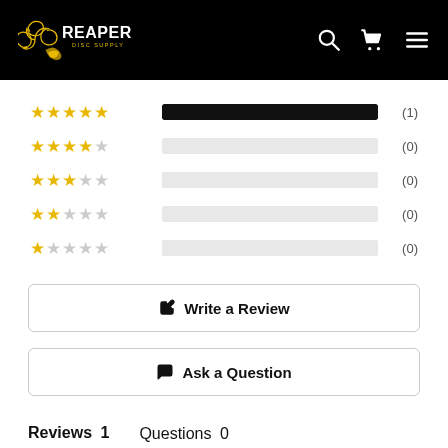[Figure (logo): Reaper Disc Supply logo with golden dragon/swirl icon and white text on black background]
[Figure (bar-chart): Rating distribution]
Write a Review
Ask a Question
Reviews 1    Questions 0
Sort